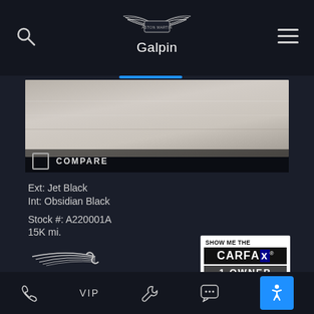[Figure (logo): Aston Martin winged logo with 'ASTON MARTIN' text in the center badge above the text 'Galpin']
[Figure (photo): Close-up photo of a light-colored car surface (bonnet/hood), showing sandy/beige tones]
COMPARE
Ext: Jet Black
Int: Obsidian Black
Stock #: A220001A
15K mi.
[Figure (logo): Aston Martin Timeless programme logo: stylized wing lines above the word TIMELESS in spaced capitals]
[Figure (logo): SHOW ME THE CARFAX 1 OWNER badge in white/black/blue]
Phone | VIP | Wrench | Chat | Accessibility